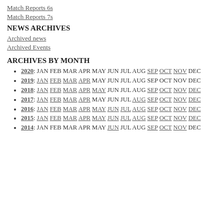Match Reports 6s
Match Reports 7s
NEWS ARCHIVES
Archived news
Archived Events
ARCHIVES BY MONTH
2020: JAN FEB MAR APR MAY JUN JUL AUG SEP OCT NOV DEC
2019: JAN FEB MAR APR MAY JUN JUL AUG SEP OCT NOV DEC
2018: JAN FEB MAR APR MAY JUN JUL AUG SEP OCT NOV DEC
2017: JAN FEB MAR APR MAY JUN JUL AUG SEP OCT NOV DEC
2016: JAN FEB MAR APR MAY JUN JUL AUG SEP OCT NOV DEC
2015: JAN FEB MAR APR MAY JUN JUL AUG SEP OCT NOV DEC
2014: JAN FEB MAR APR MAY JUN JUL AUG SEP OCT NOV DEC